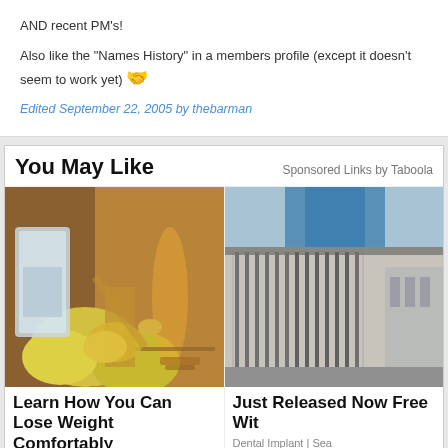AND recent PM's!
Also like the "Names History" in a members profile (except it doesn't seem to work yet) 🤝
Edited September 22, 2005 by thebarman
You May Like
Sponsored Links by Taboola
[Figure (photo): Person squeezing a lemon with lemons and a water pitcher on a table]
Learn How You Can Lose Weight Comfortably
Read More
[Figure (photo): Building exterior with metal railings and a person standing nearby]
Just Released Now Free With
Dental Implant | Sea